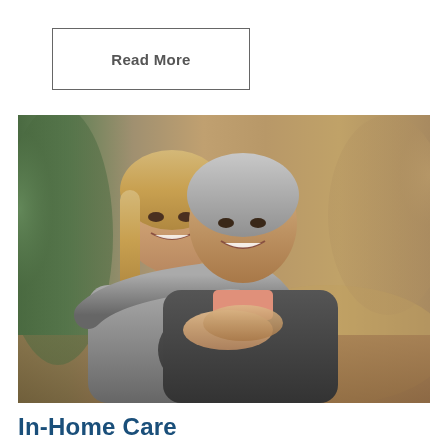Read More
[Figure (photo): Two smiling women outdoors, younger blonde woman hugging older grey-haired woman from behind on a nature path]
In-Home Care